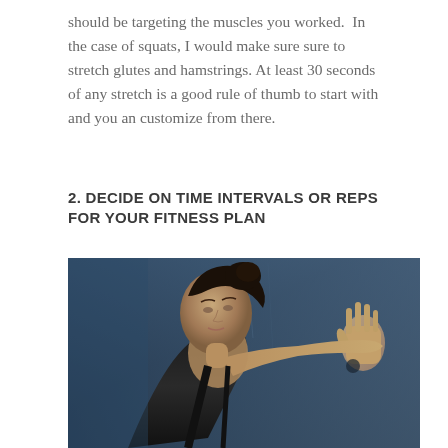should be targeting the muscles you worked.  In the case of squats, I would make sure sure to stretch glutes and hamstrings. At least 30 seconds of any stretch is a good rule of thumb to start with and you an customize from there.
2. DECIDE ON TIME INTERVALS OR REPS FOR YOUR FITNESS PLAN
[Figure (photo): A woman in a black tank top pressing her hand against a dark textured wall, photographed from the side in low blue-tinted lighting, suggesting a fitness/workout context.]